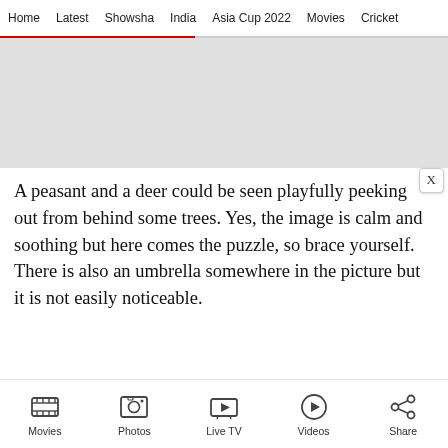Home  Latest  Showsha  India  Asia Cup 2022  Movies  Cricket
[Figure (other): Grey advertisement placeholder banner]
A peasant and a deer could be seen playfully peeking out from behind some trees. Yes, the image is calm and soothing but here comes the puzzle, so brace yourself. There is also an umbrella somewhere in the picture but it is not easily noticeable.
Movies  Photos  Live TV  Videos  Share